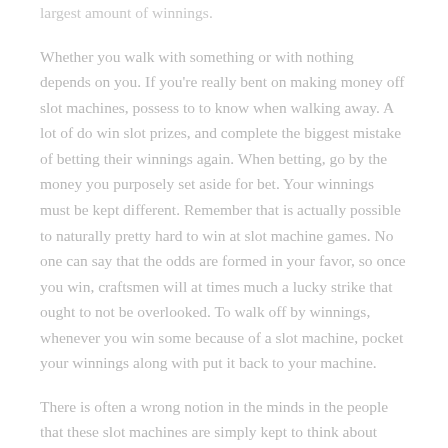largest amount of winnings.
Whether you walk with something or with nothing depends on you. If you're really bent on making money off slot machines, possess to to know when walking away. A lot of do win slot prizes, and complete the biggest mistake of betting their winnings again. When betting, go by the money you purposely set aside for bet. Your winnings must be kept different. Remember that is actually possible to naturally pretty hard to win at slot machine games. No one can say that the odds are formed in your favor, so once you win, craftsmen will at times much a lucky strike that ought to not be overlooked. To walk off by winnings, whenever you win some because of a slot machine, pocket your winnings along with put it back to your machine.
There is often a wrong notion in the minds in the people that these slot machines are simply kept to think about money. Which not well-known. Slot machines should pay back 75 – 83% funds played, bound by regulation.
[4] Don't pick numbers purely as outlined by family birthday